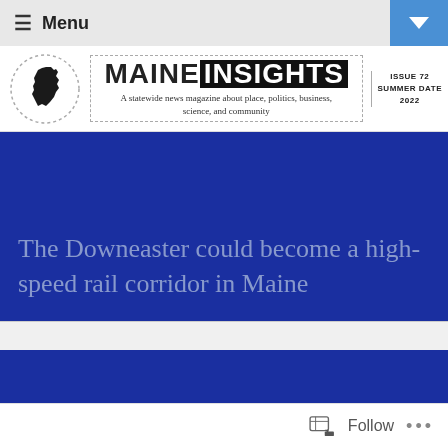≡ Menu
[Figure (logo): Maine Insights magazine logo with Maine state silhouette in circle, masthead reading MAINEINSIGHTS, subtitle 'A statewide news magazine about place, politics, business, science, and community', Issue 72 Summer 2022]
The Downeaster could become a high-speed rail corridor in Maine
Follow ...